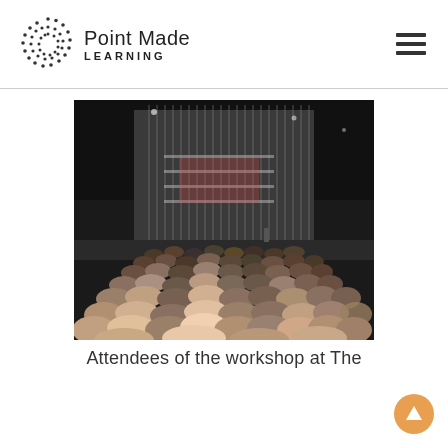[Figure (logo): Point Made Learning logo with dotted circle icon and text]
[Figure (photo): Large auditorium filled with attendees at a workshop, dark venue with vertical strings or rods hanging from ceiling, crowd visible in foreground]
Attendees of the workshop at The